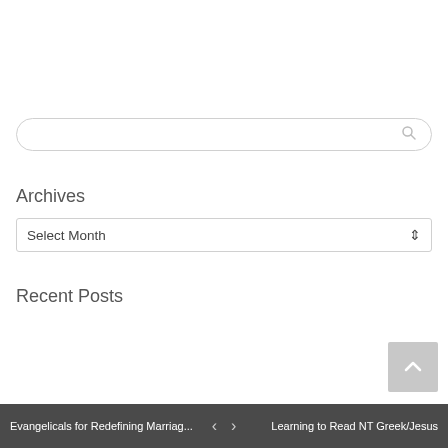[Figure (screenshot): Search input box with magnifying glass icon, rounded border]
Archives
[Figure (screenshot): Select Month dropdown widget with up/down arrow]
Recent Posts
The Dividing Line will be LIVE at 6:00pm EDT
June 14, 2022
Eerdmans Raised the Rainbow Flag, Unitarians and Will Hess
June 9, 2022
Evangelicals for Redefining Marriag... < > Learning to Read NT Greek/Jesus